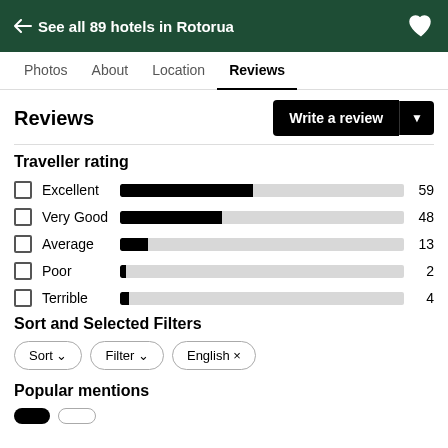← See all 89 hotels in Rotorua
Photos  About  Location  Reviews
Reviews
[Figure (bar-chart): Traveller rating]
Sort and Selected Filters
Sort ∨
Filter ∨
English ×
Popular mentions